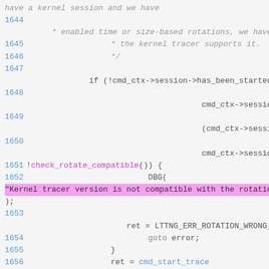Source code listing lines 1644-1656 showing kernel session rotation compatibility check in C code